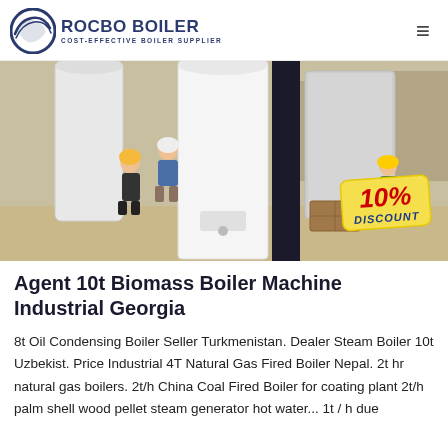ROCBO BOILER — COST-EFFECTIVE BOILER SUPPLIER
[Figure (photo): Factory floor photo of industrial boilers being inspected by workers in hard hats. Large white cylindrical boilers and dark cylindrical units visible. A yellow '10% DISCOUNT' badge overlaid in the bottom-right corner.]
Agent 10t Biomass Boiler Machine Industrial Georgia
8t Oil Condensing Boiler Seller Turkmenistan. Dealer Steam Boiler 10t Uzbekist. Price Industrial 4T Natural Gas Fired Boiler Nepal. 2t hr natural gas boilers. 2t/h China Coal Fired Boiler for coating plant 2t/h palm shell wood pellet steam generator hot water... 1t / h due